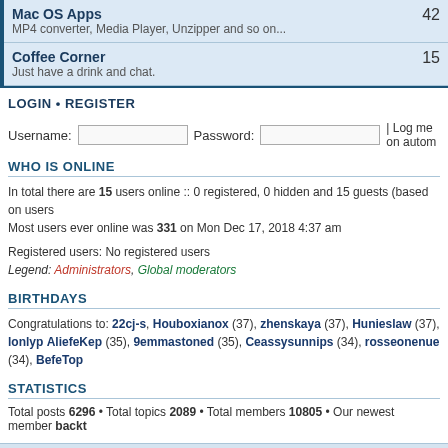| Forum | Count |
| --- | --- |
| Mac OS Apps
MP4 converter, Media Player, Unzipper and so on... | 42 |
| Coffee Corner
Just have a drink and chat. | 15 |
LOGIN • REGISTER
Username:  Password:  | Log me on autom
WHO IS ONLINE
In total there are 15 users online :: 0 registered, 0 hidden and 15 guests (based on users
Most users ever online was 331 on Mon Dec 17, 2018 4:37 am
Registered users: No registered users
Legend: Administrators, Global moderators
BIRTHDAYS
Congratulations to: 22cj-s, Houboxianox (37), zhenskaya (37), Hunieslaw (37), lonlyp AliefeKep (35), 9emmastoned (35), Ceassysunnips (34), rosseonenue (34), BefeTop
STATISTICS
Total posts 6296 • Total topics 2089 • Total members 10805 • Our newest member backt
Board index   The team •
Powered by phpBB © 2000, 2002, 2005, 2007 phpBB